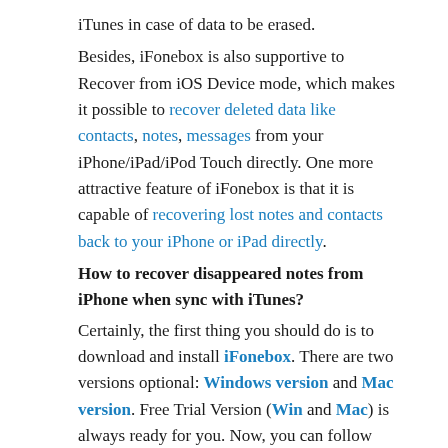iTunes in case of data to be erased.
Besides, iFonebox is also supportive to Recover from iOS Device mode, which makes it possible to recover deleted data like contacts, notes, messages from your iPhone/iPad/iPod Touch directly. One more attractive feature of iFonebox is that it is capable of recovering lost notes and contacts back to your iPhone or iPad directly.
How to recover disappeared notes from iPhone when sync with iTunes?
Certainly, the first thing you should do is to download and install iFonebox. There are two versions optional: Windows version and Mac version. Free Trial Version (Win and Mac) is always ready for you. Now, you can follow the listed steps here:
Launch iFonebox. Choose Recover from iTunes Backup. Please connect your iPhone to the computer so as to recover notes to it.
Scan notes from your iTunes backup. You can choose the one backup file which contains your lost notes to